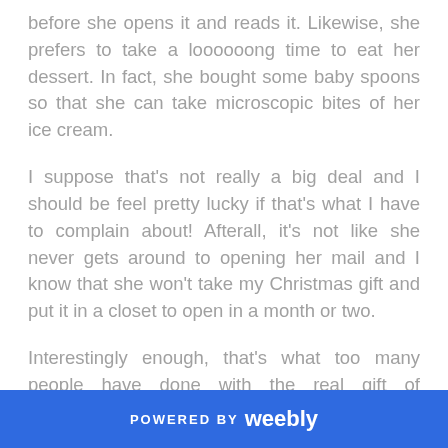before she opens it and reads it. Likewise, she prefers to take a loooooong time to eat her dessert. In fact, she bought some baby spoons so that she can take microscopic bites of her ice cream.
I suppose that's not really a big deal and I should be feel pretty lucky if that's what I have to complain about! Afterall, it's not like she never gets around to opening her mail and I know that she won't take my Christmas gift and put it in a closet to open in a month or two.
Interestingly enough, that's what too many people have done with the real gift of Christmas: Jesus. God sacrificially gave the most valuable and life-changing gift we could ever receive,
POWERED BY weebly